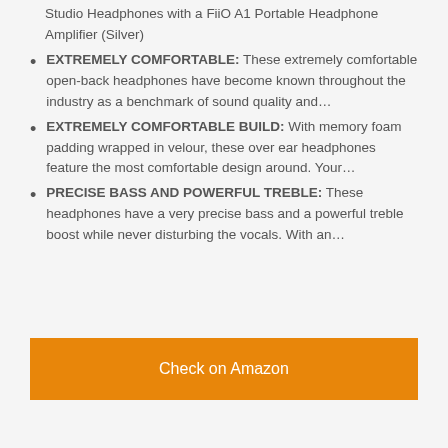Studio Headphones with a FiiO A1 Portable Headphone Amplifier (Silver)
EXTREMELY COMFORTABLE: These extremely comfortable open-back headphones have become known throughout the industry as a benchmark of sound quality and…
EXTREMELY COMFORTABLE BUILD: With memory foam padding wrapped in velour, these over ear headphones feature the most comfortable design around. Your…
PRECISE BASS AND POWERFUL TREBLE: These headphones have a very precise bass and a powerful treble boost while never disturbing the vocals. With an…
Check on Amazon